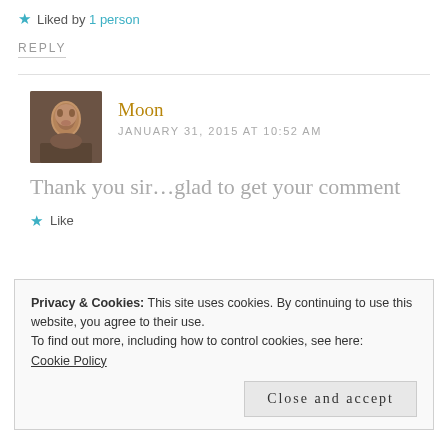★ Liked by 1 person
REPLY
Moon
JANUARY 31, 2015 AT 10:52 AM
Thank you sir...glad to get your comment
★ Like
Privacy & Cookies: This site uses cookies. By continuing to use this website, you agree to their use.
To find out more, including how to control cookies, see here:
Cookie Policy
Close and accept